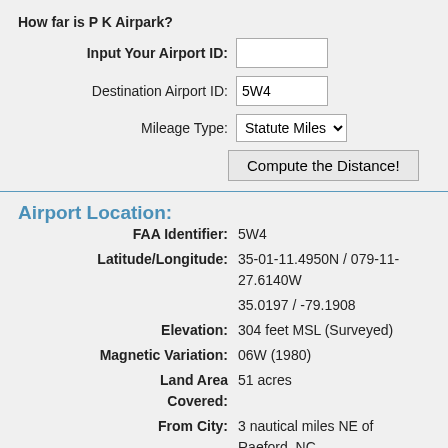How far is P K Airpark?
Input Your Airport ID:
Destination Airport ID: 5W4
Mileage Type: Statute Miles
Compute the Distance!
Airport Location:
FAA Identifier: 5W4
Latitude/Longitude: 35-01-11.4950N / 079-11-27.6140W 35.0197 / -79.1908
Elevation: 304 feet MSL (Surveyed)
Magnetic Variation: 06W (1980)
Land Area Covered: 51 acres
From City: 3 nautical miles NE of Raeford, NC
County/Parish: Hoke, NC
Airport Operations: